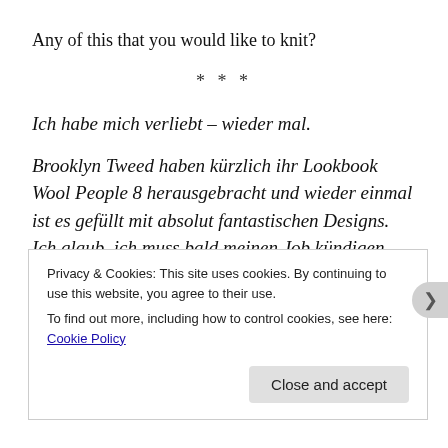Any of this that you would like to knit?
* * *
Ich habe mich verliebt – wieder mal.
Brooklyn Tweed haben kürzlich ihr Lookbook Wool People 8 herausgebracht und wieder einmal ist es gefüllt mit absolut fantastischen Designs. Ich glaub, ich muss bald meinen Job kündigen und einfach nur den ganzen Tag stricken (stell dir mal vor!). Bin mir zwar nicht ganz sicher was mein Bankkonto oder mein Freund dazu sagen würden, aber wer brauch schon Geld oder einen Freund, wenn man den
Privacy & Cookies: This site uses cookies. By continuing to use this website, you agree to their use.
To find out more, including how to control cookies, see here: Cookie Policy
Close and accept